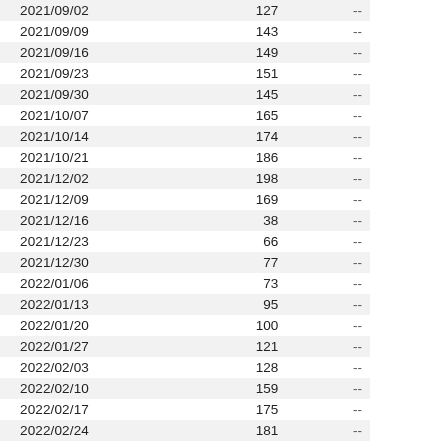| 2021/09/02 | 127 | -- |
| 2021/09/09 | 143 | -- |
| 2021/09/16 | 149 | -- |
| 2021/09/23 | 151 | -- |
| 2021/09/30 | 145 | -- |
| 2021/10/07 | 165 | -- |
| 2021/10/14 | 174 | -- |
| 2021/10/21 | 186 | -- |
| 2021/12/02 | 198 | -- |
| 2021/12/09 | 169 | -- |
| 2021/12/16 | 38 | -- |
| 2021/12/23 | 66 | -- |
| 2021/12/30 | 77 | -- |
| 2022/01/06 | 73 | -- |
| 2022/01/13 | 95 | -- |
| 2022/01/20 | 100 | -- |
| 2022/01/27 | 121 | -- |
| 2022/02/03 | 128 | -- |
| 2022/02/10 | 159 | -- |
| 2022/02/17 | 175 | -- |
| 2022/02/24 | 181 | -- |